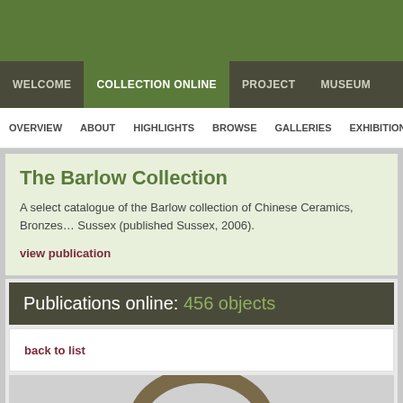[Figure (other): Green header banner background]
WELCOME | COLLECTION ONLINE | PROJECT | MUSEUM
OVERVIEW | ABOUT | HIGHLIGHTS | BROWSE | GALLERIES | EXHIBITIONS
The Barlow Collection
A select catalogue of the Barlow collection of Chinese Ceramics, Bronzes … Sussex (published Sussex, 2006).
view publication
Publications online: 456 objects
back to list
[Figure (photo): Bronze artifact with loop handle on grey background]